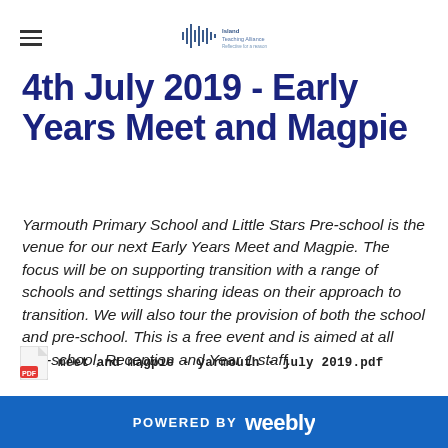[hamburger menu icon] [school logo]
4th July 2019 - Early Years Meet and Magpie
Yarmouth Primary School and Little Stars Pre-school is the venue for our next Early Years Meet and Magpie. The focus will be on supporting transition with a range of schools and settings sharing ideas on their approach to transition. We will also tour the provision of both the school and pre-school. This is a free event and is aimed at all Pre-school, Reception and Year 1 staff.
meet and magpie - yarmouth - july 2019.pdf
POWERED BY weebly